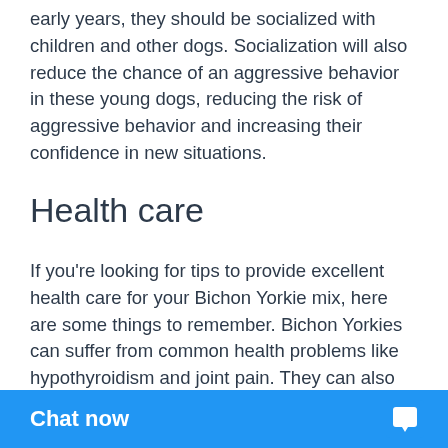early years, they should be socialized with children and other dogs. Socialization will also reduce the chance of an aggressive behavior in these young dogs, reducing the risk of aggressive behavior and increasing their confidence in new situations.
Health care
If you're looking for tips to provide excellent health care for your Bichon Yorkie mix, here are some things to remember. Bichon Yorkies can suffer from common health problems like hypothyroidism and joint pain. They can also have eye and dental problems. Regular veterinary exams can help you prevent these issues before they even occur. Ensure that your Bichon eats a quality diet and regularly visits the vet.
While the Bichon Yorkie is known to grow their long coats m… bathing. You sh…